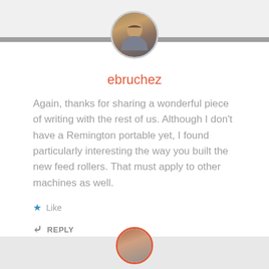[Figure (photo): Circular avatar photo of a man, displayed at top center of comment card]
ebruchez
Again, thanks for sharing a wonderful piece of writing with the rest of us. Although I don't have a Remington portable yet, I found particularly interesting the way you built the new feed rollers. That must apply to other machines as well.
★ Like
↳ REPLY
JULY 16, 2019 AT 2:48 AM
[Figure (photo): Partial circular avatar with red border visible at bottom of page]